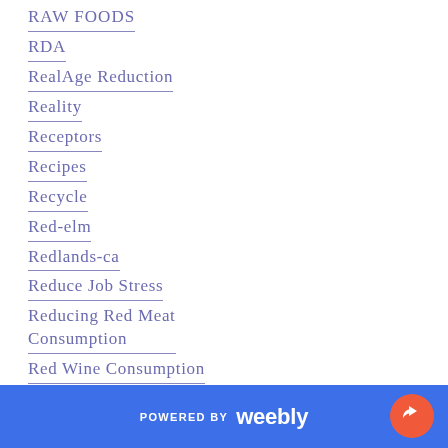RAW FOODS
RDA
RealAge Reduction
Reality
Receptors
Recipes
Recycle
Red-elm
Redlands-ca
Reduce Job Stress
Reducing Red Meat Consumption
Red Wine Consumption
Refined Carbohydrates
Refirm-contours
Regular Exercise
Reishi-mushrooms
POWERED BY weebly